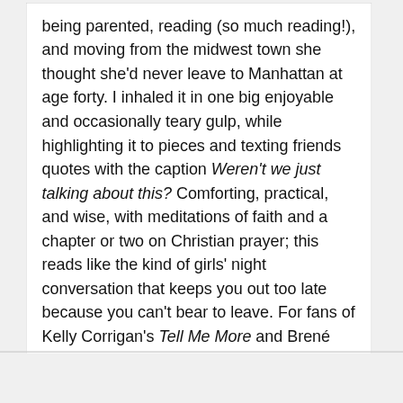being parented, reading (so much reading!), and moving from the midwest town she thought she'd never leave to Manhattan at age forty. I inhaled it in one big enjoyable and occasionally teary gulp, while highlighting it to pieces and texting friends quotes with the caption Weren't we just talking about this? Comforting, practical, and wise, with meditations of faith and a chapter or two on Christian prayer; this reads like the kind of girls' night conversation that keeps you out too late because you can't bear to leave. For fans of Kelly Corrigan's Tell Me More and Brené Brown's Rising Strong.